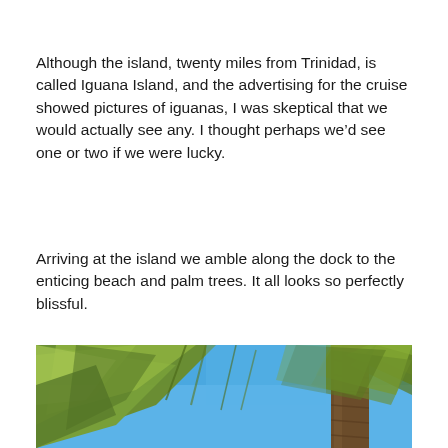Although the island, twenty miles from Trinidad, is called Iguana Island, and the advertising for the cruise showed pictures of iguanas, I was skeptical that we would actually see any. I thought perhaps we’d see one or two if we were lucky.
Arriving at the island we amble along the dock to the enticing beach and palm trees. It all looks so perfectly blissful.
[Figure (photo): Close-up photograph of palm tree fronds against a bright blue sky, with the trunk of a palm tree visible on the right side.]